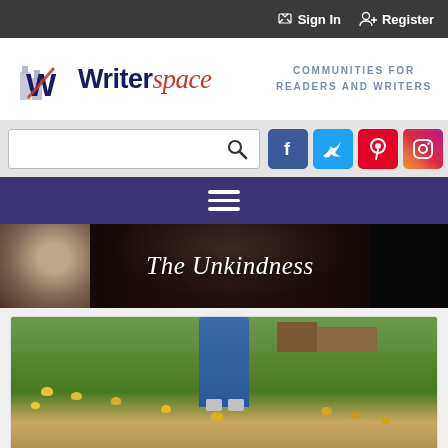Sign In   Register
[Figure (logo): Writerspace logo with stylized W icon and text 'Writerspace' with tagline 'COMMUNITIES FOR READERS AND WRITERS']
[Figure (screenshot): Search bar with magnifying glass icon and social media icons for Facebook, Twitter, Pinterest, Instagram]
[Figure (screenshot): Purple navigation bar with hamburger menu icon]
[Figure (illustration): Dark banner image with woman's face and text 'The Unkindness']
[Figure (photo): Photo of person standing in field with baby chicks and farm background]